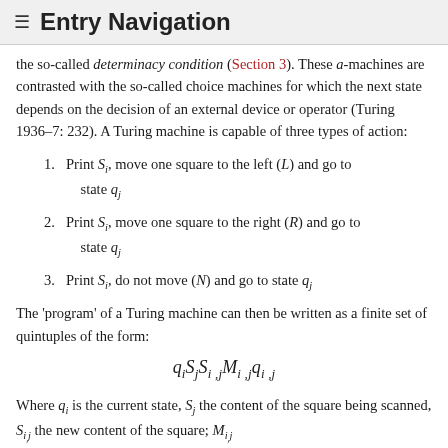≡ Entry Navigation
the so-called determinacy condition (Section 3). These a-machines are contrasted with the so-called choice machines for which the next state depends on the decision of an external device or operator (Turing 1936–7: 232). A Turing machine is capable of three types of action:
1. Print S_i, move one square to the left (L) and go to state q_j
2. Print S_i, move one square to the right (R) and go to state q_j
3. Print S_i, do not move (N) and go to state q_j
The 'program' of a Turing machine can then be written as a finite set of quintuples of the form:
Where q_i is the current state, S_j the content of the square being scanned, S_{i,j} the new content of the square; M_{i,j}